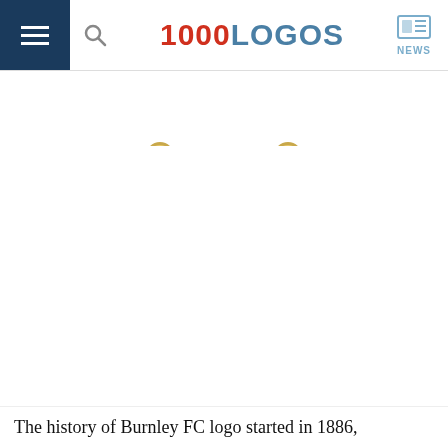1000LOGOS — NEWS
[Figure (other): Logo history timeline showing two Burnley FC logo thumbnails above year labels 2010 and 2015 on a grey bar]
The history of Burnley FC logo started in 1886,